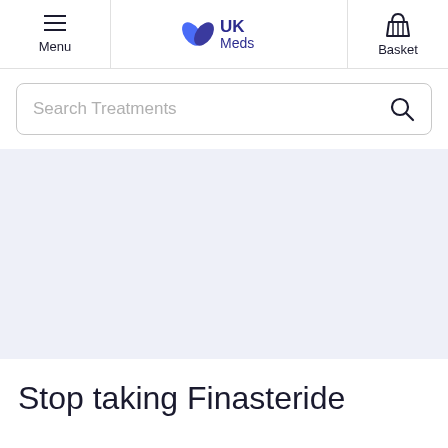Menu | UK Meds | Basket
Search Treatments
Stop taking Finasteride